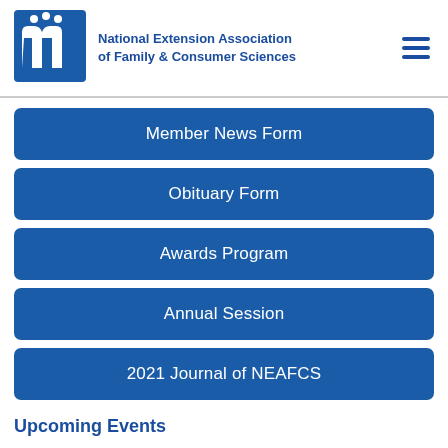[Figure (logo): NEAFCS logo with stylized 'n' and three figures, blue color]
National Extension Association of Family & Consumer Sciences
Member News Form
Obituary Form
Awards Program
Annual Session
2021 Journal of NEAFCS
Upcoming Events